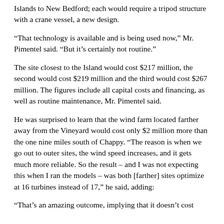Islands to New Bedford; each would require a tripod structure with a crane vessel, a new design.
“That technology is available and is being used now,” Mr. Pimentel said. “But it’s certainly not routine.”
The site closest to the Island would cost $217 million, the second would cost $219 million and the third would cost $267 million. The figures include all capital costs and financing, as well as routine maintenance, Mr. Pimentel said.
He was surprised to learn that the wind farm located farther away from the Vineyard would cost only $2 million more than the one nine miles south of Chappy. “The reason is when we go out to outer sites, the wind speed increases, and it gets much more reliable. So the result – and I was not expecting this when I ran the models – was both [farther] sites optimize at 16 turbines instead of 17,” he said, adding:
“That’s an amazing outcome, implying that it doesn’t cost